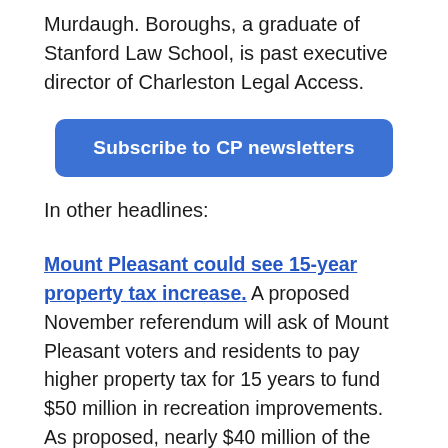Murdaugh. Boroughs, a graduate of Stanford Law School, is past executive director of Charleston Legal Access.
[Figure (other): Blue rounded rectangle button with white bold text: Subscribe to CP newsletters]
In other headlines:
Mount Pleasant could see 15-year property tax increase. A proposed November referendum will ask of Mount Pleasant voters and residents to pay higher property tax for 15 years to fund $50 million in recreation improvements. As proposed, nearly $40 million of the money would be used to develop